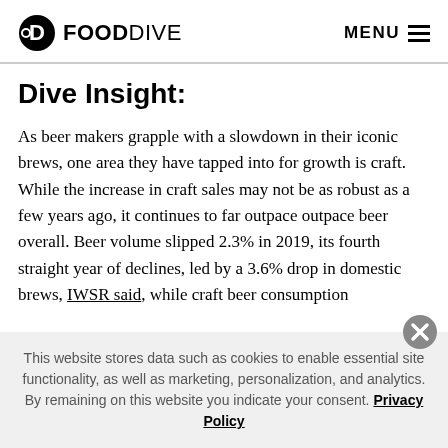FOOD DIVE  MENU
Dive Insight:
As beer makers grapple with a slowdown in their iconic brews, one area they have tapped into for growth is craft. While the increase in craft sales may not be as robust as a few years ago, it continues to far outpace outpace beer overall. Beer volume slipped 2.3% in 2019, its fourth straight year of declines, led by a 3.6% drop in domestic brews, IWSR said, while craft beer consumption
This website stores data such as cookies to enable essential site functionality, as well as marketing, personalization, and analytics. By remaining on this website you indicate your consent. Privacy Policy